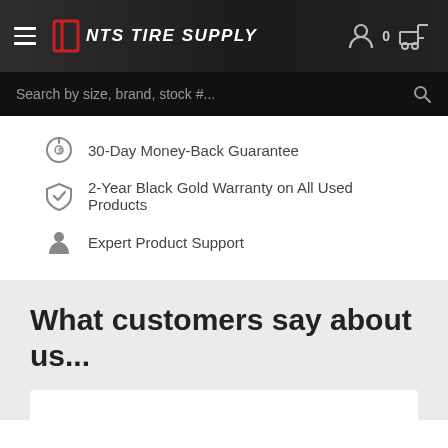[Figure (logo): NTS Tire Supply logo and navigation bar with hamburger menu, logo icon, brand name, user icon, cart count 0, and forklift icon]
Search by size, brand, stock #...
30-Day Money-Back Guarantee
2-Year Black Gold Warranty on All Used Products
Expert Product Support
What customers say about us...